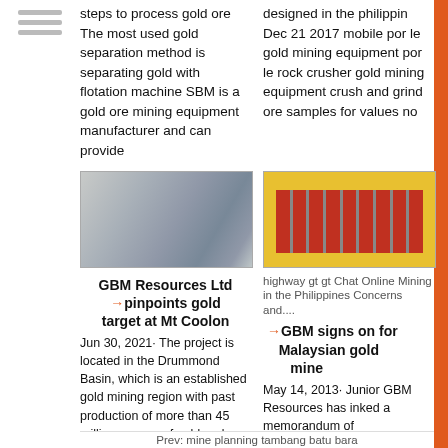steps to process gold ore The most used gold separation method is separating gold with flotation machine SBM is a gold ore mining equipment manufacturer and can provide
designed in the philippin Dec 21 2017 mobile por le gold mining equipment por le rock crusher gold mining equipment crush and grind ore samples for values no
[Figure (photo): Close-up photo of a metallic/silver textured material, possibly a gold processing machine or metal sheet]
[Figure (photo): Photo of a yellow and red sluice box or gold mining equipment with parallel red slats inside a yellow frame]
highway gt gt Chat Online Mining in the Philippines Concerns and....
GBM Resources Ltd pinpoints gold target at Mt Coolon
GBM signs on for Malaysian gold mine
Jun 30, 2021· The project is located in the Drummond Basin, which is an established gold mining region with past production of more than 45 million ounces of gold and total known resources of over 75 million
May 14, 2013· Junior GBM Resources has inked a memorandum of understanding (MoU) with Angka Alamjaya Sendirian Berhard (AASB) over the Lubuk Mandi gold mine, in Malaysia The mine has
Prev: mine planning tambang batu bara